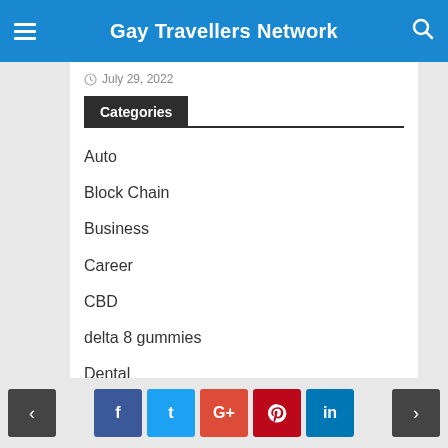Gay Travellers Network
July 29, 2022
Categories
Auto
Block Chain
Business
Career
CBD
delta 8 gummies
Dental
dental care
Digital Marketing
< f t G+ p in >